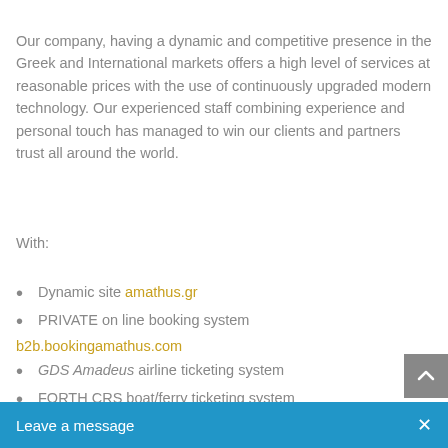Our company, having a dynamic and competitive presence in the Greek and International markets offers a high level of services at reasonable prices with the use of continuously upgraded modern technology. Our experienced staff combining experience and personal touch has managed to win our clients and partners trust all around the world.
With:
Dynamic site amathus.gr
PRIVATE on line booking system
b2b.bookingamathus.com
GDS Amadeus airline ticketing system
FORTH CRS boat/ferry ticketing system
On line booking system for c... companies